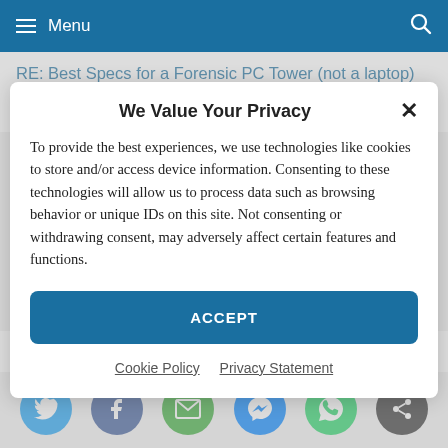Menu
RE: Best Specs for a Forensic PC Tower (not a laptop)
Ask the manufacturers of the platforms you are using fo...
We Value Your Privacy
To provide the best experiences, we use technologies like cookies to store and/or access device information. Consenting to these technologies will allow us to process data such as browsing behavior or unique IDs on this site. Not consenting or withdrawing consent, may adversely affect certain features and functions.
ACCEPT
Cookie Policy   Privacy Statement
By CHA23x, 6 days ago
RE: How to explain different hash values?
[Figure (other): Social sharing buttons: Twitter, Facebook, Email, Messenger, WhatsApp, Share]